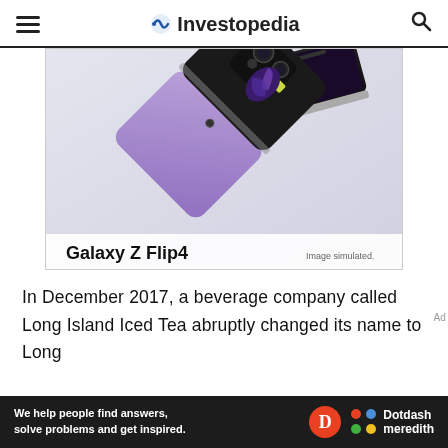Investopedia
[Figure (photo): Samsung Galaxy Z Flip4 advertisement showing the folding phone in purple/lilac color from multiple angles against a light background. Text reads 'Galaxy Z Flip4' and 'Image simulated.']
In December 2017, a beverage company called Long Island Iced Tea abruptly changed its name to Long
[Figure (other): Dotdash Meredith promotional bar: 'We help people find answers, solve problems and get inspired.' with Dotdash Meredith logo]